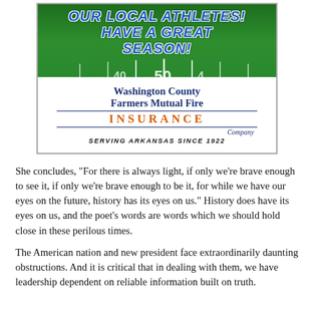[Figure (illustration): Advertisement for Washington County Farmers Mutual Fire Insurance Company over a football field background with text 'OUR LOCAL ATHLETES! HAVE A GREAT SEASON!' and company logo with 'SERVING ARKANSAS SINCE 1922']
She concludes, "For there is always light, if only we're brave enough to see it, if only we're brave enough to be it, for while we have our eyes on the future, history has its eyes on us." History does have its eyes on us, and the poet's words are words which we should hold close in these perilous times.
The American nation and new president face extraordinarily daunting obstructions. And it is critical that in dealing with them, we have leadership dependent on reliable information built on truth.